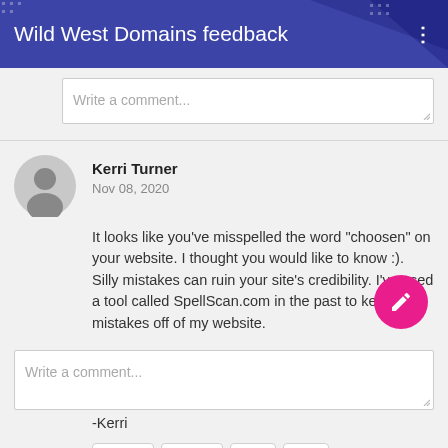Wild West Domains feedback
Write a comment...
Kerri Turner
Nov 08, 2020

It looks like you've misspelled the word "choosen" on your website. I thought you would like to know :). Silly mistakes can ruin your site's credibility. I've used a tool called SpellScan.com in the past to keep mistakes off of my website.

-Kerri
Write a comment...